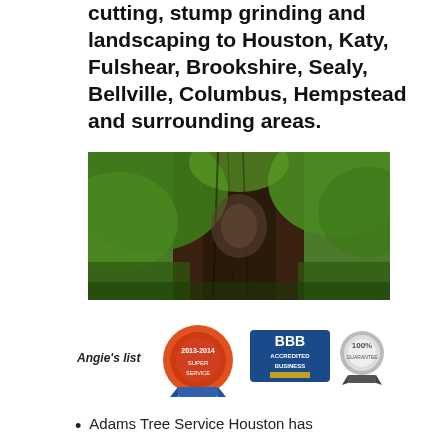cutting, stump grinding and landscaping to Houston, Katy, Fulshear, Brookshire, Sealy, Bellville, Columbus, Hempstead and surrounding areas.
[Figure (photo): Upward-looking photo of a large tree trunk surrounded by green leafy canopy]
[Figure (infographic): Three trust/certification badges: Angie's List award badge (2013-2014), BBB Accredited Business badge, and 100% Guarantee badge]
Adams Tree Service Houston has